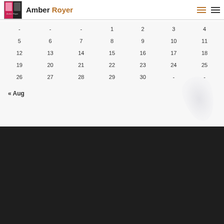Amber Royer
| Sun | Mon | Tue | Wed | Thu | Fri | Sat |
| --- | --- | --- | --- | --- | --- | --- |
|  |  |  | 1 | 2 | 3 | 4 |
| 5 | 6 | 7 | 8 | 9 | 10 | 11 |
| 12 | 13 | 14 | 15 | 16 | 17 | 18 |
| 19 | 20 | 21 | 22 | 23 | 24 | 25 |
| 26 | 27 | 28 | 29 | 30 |  |  |
« Aug